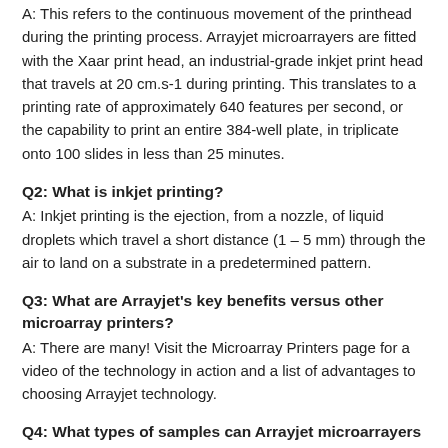A: This refers to the continuous movement of the printhead during the printing process. Arrayjet microarrayers are fitted with the Xaar print head, an industrial-grade inkjet print head that travels at 20 cm.s-1 during printing. This translates to a printing rate of approximately 640 features per second, or the capability to print an entire 384-well plate, in triplicate onto 100 slides in less than 25 minutes.
Q2: What is inkjet printing?
A: Inkjet printing is the ejection, from a nozzle, of liquid droplets which travel a short distance (1 – 5 mm) through the air to land on a substrate in a predetermined pattern.
Q3: What are Arrayjet's key benefits versus other microarray printers?
A: There are many! Visit the Microarray Printers page for a video of the technology in action and a list of advantages to choosing Arrayjet technology.
Q4: What types of samples can Arrayjet microarrayers print?
A: Arrayjet microarray spotters are routinely used to print the following samples: